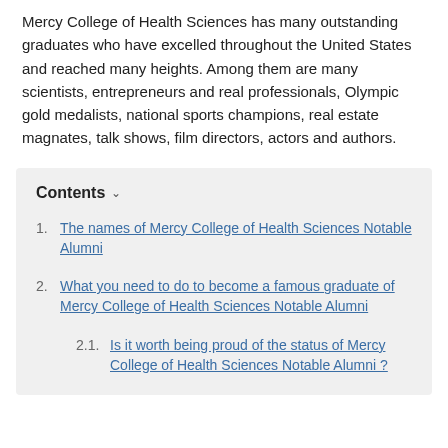Mercy College of Health Sciences has many outstanding graduates who have excelled throughout the United States and reached many heights. Among them are many scientists, entrepreneurs and real professionals, Olympic gold medalists, national sports champions, real estate magnates, talk shows, film directors, actors and authors.
1. The names of Mercy College of Health Sciences Notable Alumni
2. What you need to do to become a famous graduate of Mercy College of Health Sciences Notable Alumni
2.1. Is it worth being proud of the status of Mercy College of Health Sciences Notable Alumni?